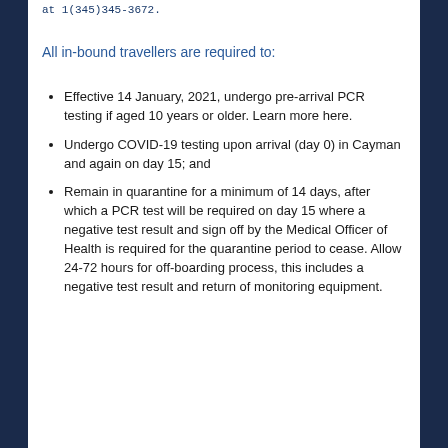at 1(345)345-3672.
All in-bound travellers are required to:
Effective 14 January, 2021, undergo pre-arrival PCR testing if aged 10 years or older. Learn more here.
Undergo COVID-19 testing upon arrival (day 0) in Cayman and again on day 15; and
Remain in quarantine for a minimum of 14 days, after which a PCR test will be required on day 15 where a negative test result and sign off by the Medical Officer of Health is required for the quarantine period to cease. Allow 24-72 hours for off-boarding process, this includes a negative test result and return of monitoring equipment.